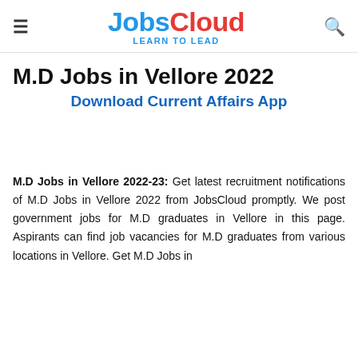JobsCloud LEARN TO LEAD
M.D Jobs in Vellore 2022
Download Current Affairs App
M.D Jobs in Vellore 2022-23: Get latest recruitment notifications of M.D Jobs in Vellore 2022 from JobsCloud promptly. We post government jobs for M.D graduates in Vellore in this page. Aspirants can find job vacancies for M.D graduates from various locations in Vellore. Get M.D Jobs in